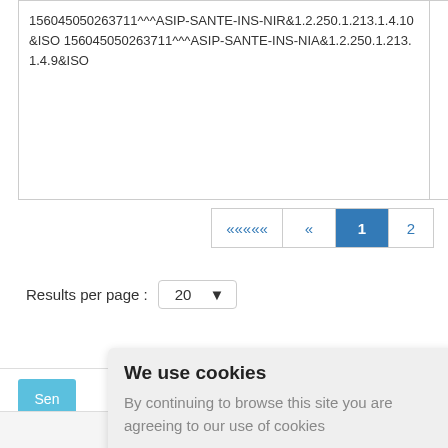156045050263711^^^ASIP-SANTE-INS-NIR&1.2.250.1.213.1.4.10&ISO 156045050263711^^^ASIP-SANTE-INS-NIA&1.2.250.1.213.1.4.9&ISO
Results per page : 20
We use cookies
By continuing to browse this site you are agreeing to our use of cookies
Ok
Sen
r to
send a
About   Back to top   E